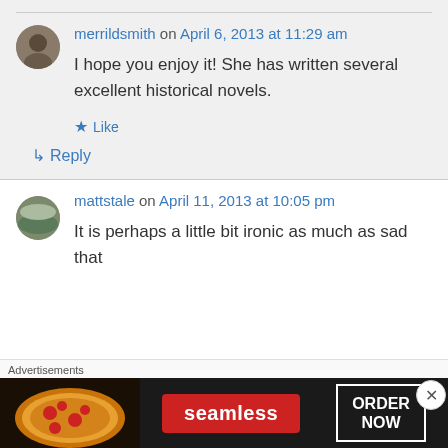merrildsmith on April 6, 2013 at 11:29 am
I hope you enjoy it! She has written several excellent historical novels.
Like
Reply
mattstale on April 11, 2013 at 10:05 pm
It is perhaps a little bit ironic as much as sad that
Advertisements
[Figure (photo): Seamless food delivery advertisement banner showing pizza and ORDER NOW button]